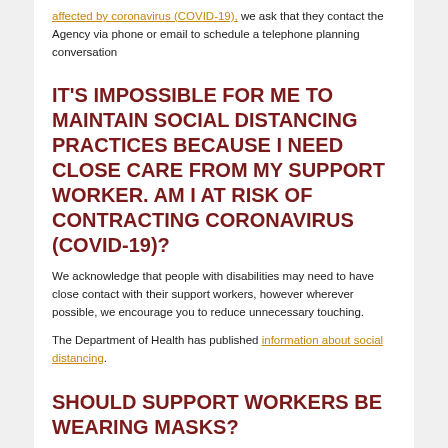affected by coronavirus (COVID-19), we ask that they contact the Agency via phone or email to schedule a telephone planning conversation
IT'S IMPOSSIBLE FOR ME TO MAINTAIN SOCIAL DISTANCING PRACTICES BECAUSE I NEED CLOSE CARE FROM MY SUPPORT WORKER. AM I AT RISK OF CONTRACTING CORONAVIRUS (COVID-19)?
We acknowledge that people with disabilities may need to have close contact with their support workers, however wherever possible, we encourage you to reduce unnecessary touching.
The Department of Health has published information about social distancing.
SHOULD SUPPORT WORKERS BE WEARING MASKS?